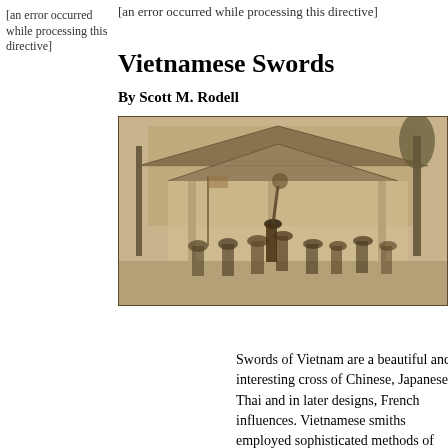[an error occurred while processing this directive]
[an error occurred while processing this directive]
Vietnamese Swords
By Scott M. Rodell
[Figure (photo): Sepia-toned historical photograph showing a crowd of Vietnamese people in traditional dress gathered in an outdoor courtyard, with a traditional building with tiled roof in the background.]
Swords of Vietnam are a beautiful and interesting cross of Chinese, Japanese, Thai and in later designs, French influences. Vietnamese smiths employed sophisticated methods of inlaying precious metals and excellent chased silver for the fittings of